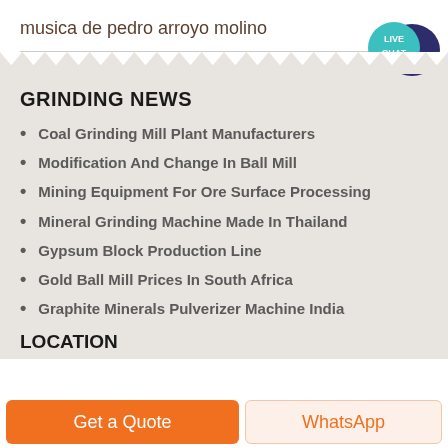musica de pedro arroyo molino
[Figure (illustration): Live Chat button with speech bubble icon, teal circle with dark navy speech bubble]
GRINDING NEWS
Coal Grinding Mill Plant Manufacturers
Modification And Change In Ball Mill
Mining Equipment For Ore Surface Processing
Mineral Grinding Machine Made In Thailand
Gypsum Block Production Line
Gold Ball Mill Prices In South Africa
Graphite Minerals Pulverizer Machine India
LOCATION
Get a Quote
WhatsApp